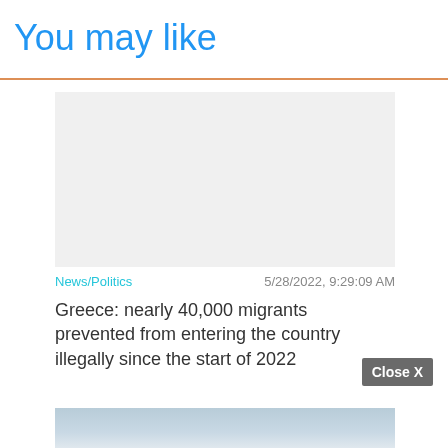You may like
[Figure (other): Blank light gray placeholder image for article thumbnail]
News/Politics    5/28/2022, 9:29:09 AM
Greece: nearly 40,000 migrants prevented from entering the country illegally since the start of 2022
[Figure (photo): Partial photo of a vessel or structure at sea, partially visible at bottom of page]